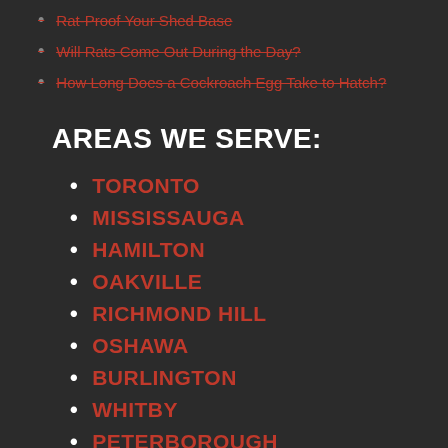Rat-Proof Your Shed Base
Will Rats Come Out During the Day?
How Long Does a Cockroach Egg Take to Hatch?
AREAS WE SERVE:
TORONTO
MISSISSAUGA
HAMILTON
OAKVILLE
RICHMOND HILL
OSHAWA
BURLINGTON
WHITBY
PETERBOROUGH
NEWMARKET